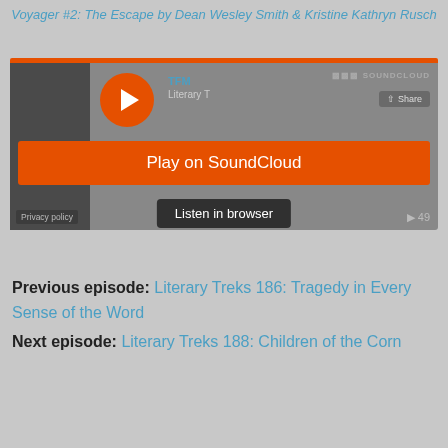Voyager #2: The Escape by Dean Wesley Smith & Kristine Kathryn Rusch
[Figure (screenshot): SoundCloud embedded audio player widget showing 'Play on SoundCloud' orange button and 'Listen in browser' button overlay, with TFM / Literary T track info, Share button, Privacy policy text, and play count of 49.]
Previous episode: Literary Treks 186: Tragedy in Every Sense of the Word
Next episode: Literary Treks 188: Children of the Corn